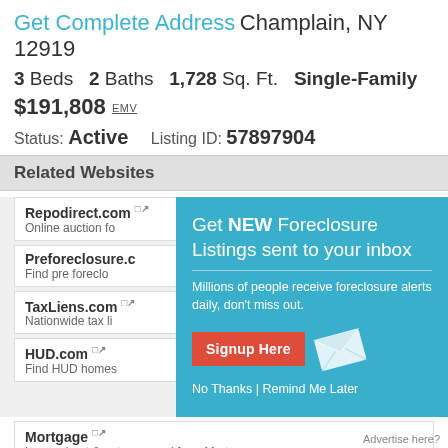Get Complete Address Champlain, NY 12919
3 Beds  2 Baths  1,728 Sq. Ft.  Single-Family
$191,808 EMV
Status: Active   Listing ID: 57897904
Related Websites
Repodirect.com
Online auction fo
Preforeclosure.c
Find pre foreclo
TaxLiens.com
Nationwide tax li
HUD.com
Find HUD homes
Mortgage
Learn about & get approved for a Mortgage
[Figure (infographic): Modal popup overlay on teal background with heading 'Get NEW Foreclosure Listings sent to your inbox', subtext 'Millions of people receive foreclosure alerts daily, don't miss out.', a red Signup Here button, envelope icon, and footer text 'No Thanks | Remind Me Later']
Advertise here?